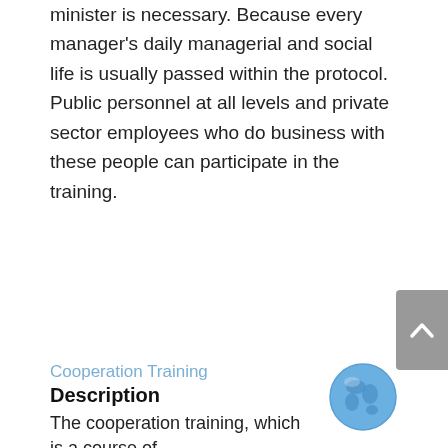minister is necessary. Because every manager's daily managerial and social life is usually passed within the protocol. Public personnel at all levels and private sector employees who do business with these people can participate in the training.
Cooperation Training
Description
The cooperation training, which is a course of